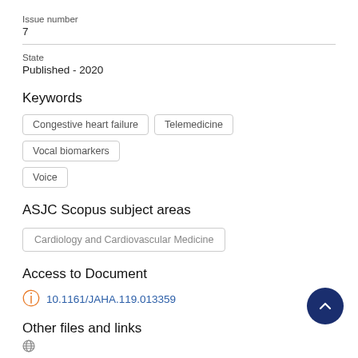Issue number
7
State
Published - 2020
Keywords
Congestive heart failure
Telemedicine
Vocal biomarkers
Voice
ASJC Scopus subject areas
Cardiology and Cardiovascular Medicine
Access to Document
10.1161/JAHA.119.013359
Other files and links